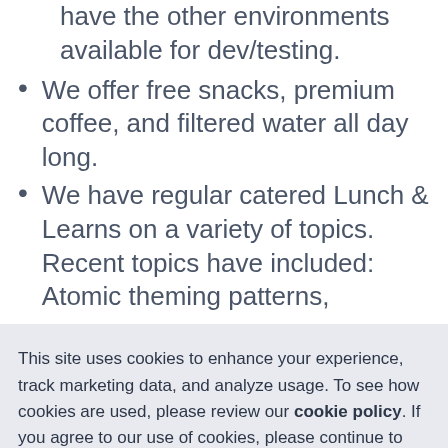have the other environments available for dev/testing.
We offer free snacks, premium coffee, and filtered water all day long.
We have regular catered Lunch & Learns on a variety of topics. Recent topics have included: Atomic theming patterns,
This site uses cookies to enhance your experience, track marketing data, and analyze usage. To see how cookies are used, please review our cookie policy. If you agree to our use of cookies, please continue to use our site.